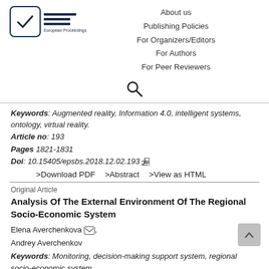[Figure (logo): European Proceedings logo with checkbox icon and EP bars]
About us
Publishing Policies
For Organizers/Editors
For Authors
For Peer Reviewers
[Figure (other): Search magnifying glass icon]
Keywords: Augmented reality, Information 4.0, intelligent systems, ontology, virtual reality.
Article no: 193
Pages 1821-1831
Doi: 10.15405/epsbs.2018.12.02.193
>Download PDF    >Abstract    >View as HTML
Original Article
Analysis Of The External Environment Of The Regional Socio-Economic System
Elena Averchenkova,
Andrey Averchenkov
Keywords: Monitoring, decision-making support system, regional socio-economic system
Article no: 33